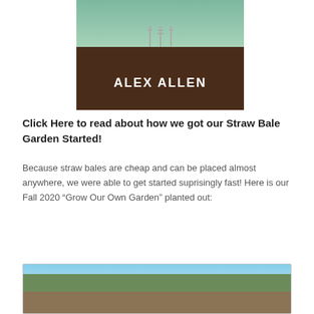[Figure (photo): Photo of a book being held, showing the author name ALEX ALLEN on a dark brown cover with garden tools visible at the top]
Click Here to read about how we got our Straw Bale Garden Started!
Because straw bales are cheap and can be placed almost anywhere, we were able to get started suprisingly fast!  Here is our Fall 2020 “Grow Our Own Garden” planted out:
[Figure (photo): Outdoor photo of a straw bale garden with mountains and blue sky in the background, plants visible in the foreground]